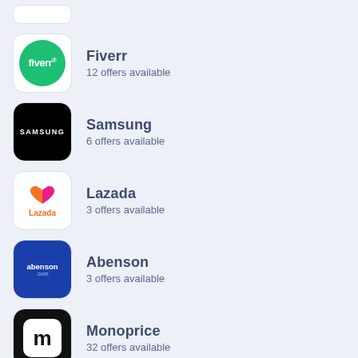Fiverr – 12 offers available
Samsung – 6 offers available
Lazada – 3 offers available
Abenson – 3 offers available
Monoprice – 32 offers available
Freepik